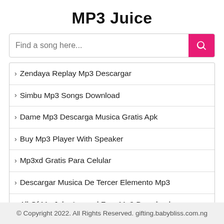MP3 Juice
› Zendaya Replay Mp3 Descargar
› Simbu Mp3 Songs Download
› Dame Mp3 Descarga Musica Gratis Apk
› Buy Mp3 Player With Speaker
› Mp3xd Gratis Para Celular
› Descargar Musica De Tercer Elemento Mp3
› All Of Me John Legend Free Mp3 Download Soundcloud
› تحميل Mp3 عبدالباسط عبدالصمد
© Copyright 2022. All Rights Reserved. gifting.babybliss.com.ng